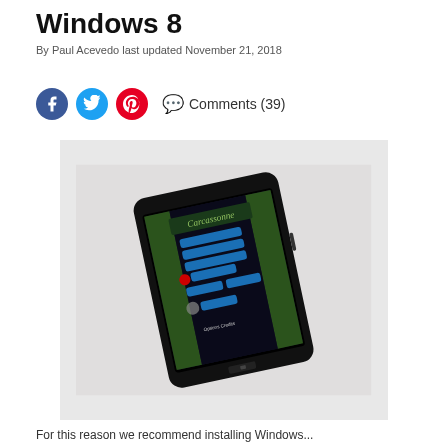Windows 8
By Paul Acevedo last updated November 21, 2018
Comments (39)
[Figure (photo): A Nokia Windows Phone lying flat on a white surface, displaying the Carcassonne game app menu screen with blue buttons and green medieval artwork.]
For this reason we recommend installing Windows...